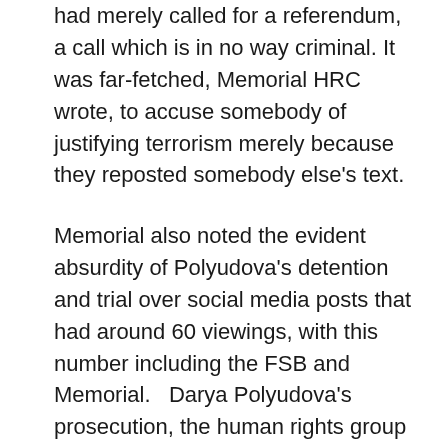had merely called for a referendum, a call which is in no way criminal. It was far-fetched, Memorial HRC wrote, to accuse somebody of justifying terrorism merely because they reposted somebody else's text.
Memorial also noted the evident absurdity of Polyudova's detention and trial over social media posts that had around 60 viewings, with this number including the FSB and Memorial.   Darya Polyudova's prosecution, the human rights group concluded, was politically motivated, and linked with her social and political activism.